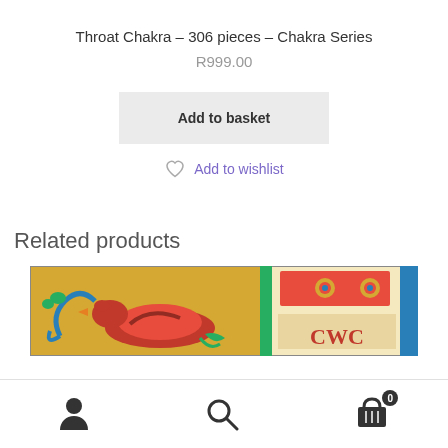Throat Chakra – 306 pieces – Chakra Series
R999.00
Add to basket
Add to wishlist
Related products
[Figure (photo): Partial view of a related product showing a decorative illuminated manuscript-style puzzle image with a bird/dragon motif on gold background and ornamental patterns on the right side.]